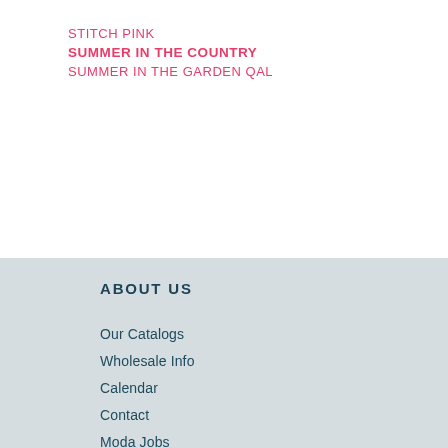STITCH PINK
SUMMER IN THE COUNTRY
SUMMER IN THE GARDEN QAL
ABOUT US
Our Catalogs
Wholesale Info
Calendar
Contact
Moda Jobs
FAQs
Privacy Policy
BLOGS
Inspiration + Resources